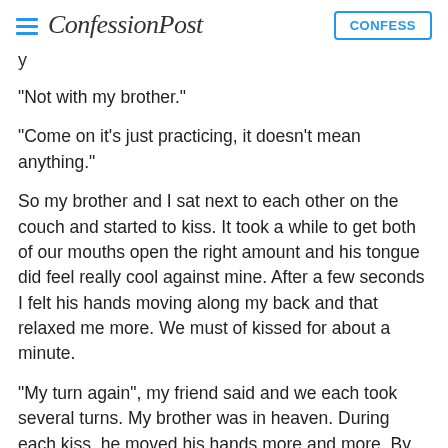ConfessionPost | CONFESS
y
"Not with my brother."
"Come on it's just practicing, it doesn't mean anything."
So my brother and I sat next to each other on the couch and started to kiss. It took a while to get both of our mouths open the right amount and his tongue did feel really cool against mine. After a few seconds I felt his hands moving along my back and that relaxed me more. We must of kissed for about a minute.
"My turn again", my friend said and we each took several turns. My brother was in heaven. During each kiss, he moved his hands more and more. By the last one with my friend he was rubbing her chest, even though she hasn't gotten b**** yet. On the last one